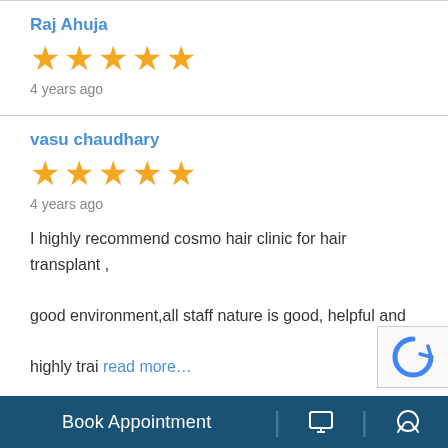Raj Ahuja
[Figure (other): 5 gold stars rating]
4 years ago
vasu chaudhary
[Figure (other): 5 gold stars rating]
4 years ago
I highly recommend cosmo hair clinic for hair transplant , good environment,all staff nature is good, helpful and highly trai read more…
Siddharth Joshi
[Figure (other): 5 gold stars rating (partially visible)]
Book Appointment